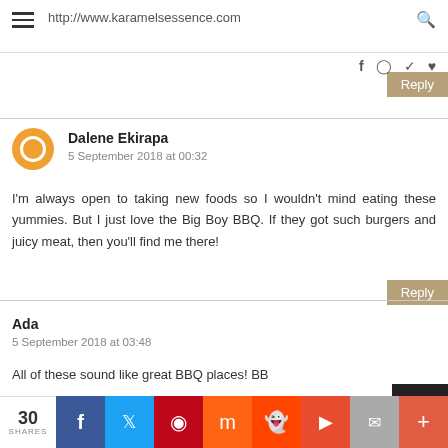http://www.karamelsessence.com
Dalene Ekirapa
5 September 2018 at 00:32

I'm always open to taking new foods so I wouldn't mind eating these yummies. But I just love the Big Boy BBQ. If they got such burgers and juicy meat, then you'll find me there!
Ada
5 September 2018 at 03:48

All of these sound like great BBQ places! BB